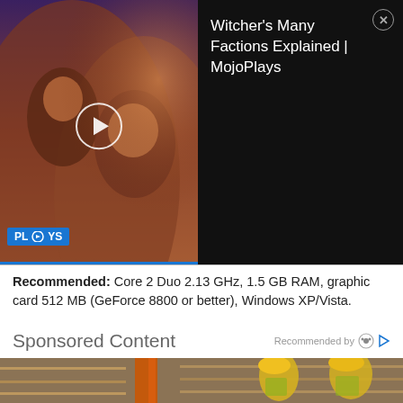[Figure (screenshot): Video thumbnail showing fantasy game characters (Witcher) with play button overlay and PLAYS badge on dark background]
Witcher's Many Factions Explained | MojoPlays
Recommended: Core 2 Duo 2.13 GHz, 1.5 GB RAM, graphic card 512 MB (GeForce 8800 or better), Windows XP/Vista.
Sponsored Content
Recommended by
[Figure (photo): Warehouse workers in yellow hard hats and safety vests, one operating a forklift, another holding a laptop, inside a large warehouse with shelving]